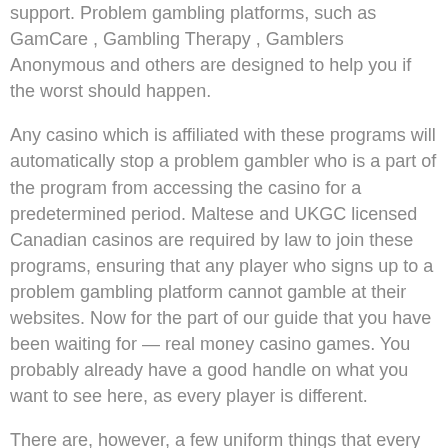support. Problem gambling platforms, such as GamCare , Gambling Therapy , Gamblers Anonymous and others are designed to help you if the worst should happen.
Any casino which is affiliated with these programs will automatically stop a problem gambler who is a part of the program from accessing the casino for a predetermined period. Maltese and UKGC licensed Canadian casinos are required by law to join these programs, ensuring that any player who signs up to a problem gambling platform cannot gamble at their websites. Now for the part of our guide that you have been waiting for — real money casino games. You probably already have a good handle on what you want to see here, as every player is different.
There are, however, a few uniform things that every top Canadian casino can offer, and we will cover those next. Downloadable casinos are outdated nowadays, so the best sites will offer you their fully-fledged collection of games via an instant play browser-based casino platform. There is no real need for a dedicated mobile app, as instant play casinos are mobile-friendly. However you wish to play, it